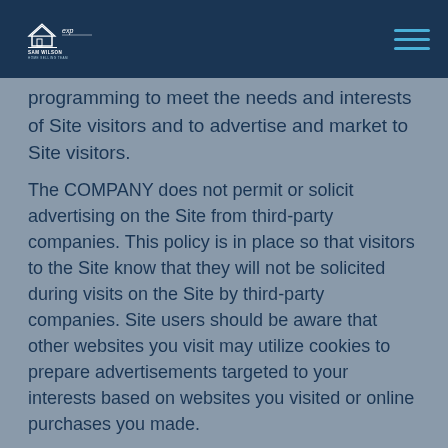Sam Wilson Home Selling Team
programming to meet the needs and interests of Site visitors and to advertise and market to Site visitors.
The COMPANY does not permit or solicit advertising on the Site from third-party companies. This policy is in place so that visitors to the Site know that they will not be solicited during visits on the Site by third-party companies. Site users should be aware that other websites you visit may utilize cookies to prepare advertisements targeted to your interests based on websites you visited or online purchases you made.
1. v) Do we disclose any information to outside parties?
We do not sell, trade, or otherwise transfer to